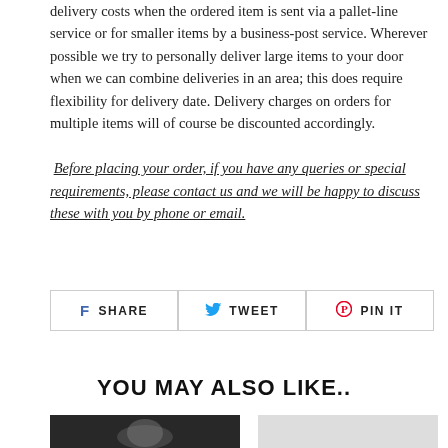delivery costs when the ordered item is sent via a pallet-line service or for smaller items by a business-post service. Wherever possible we try to personally deliver large items to your door when we can combine deliveries in an area; this does require flexibility for delivery date. Delivery charges on orders for multiple items will of course be discounted accordingly.
Before placing your order, if you have any queries or special requirements, please contact us and we will be happy to discuss these with you by phone or email.
[Figure (other): Social sharing buttons: SHARE (Facebook), TWEET (Twitter), PIN IT (Pinterest)]
YOU MAY ALSO LIKE..
[Figure (photo): Thumbnail image on dark background (left)]
[Figure (photo): Thumbnail image on light background (right)]